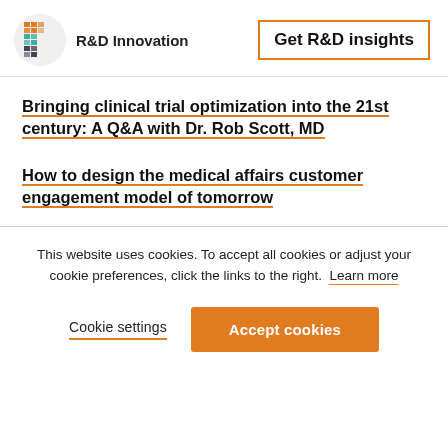R&D Innovation | Get R&D insights
Bringing clinical trial optimization into the 21st century: A Q&A with Dr. Rob Scott, MD
How to design the medical affairs customer engagement model of tomorrow
This website uses cookies. To accept all cookies or adjust your cookie preferences, click the links to the right. Learn more
Cookie settings | Accept cookies